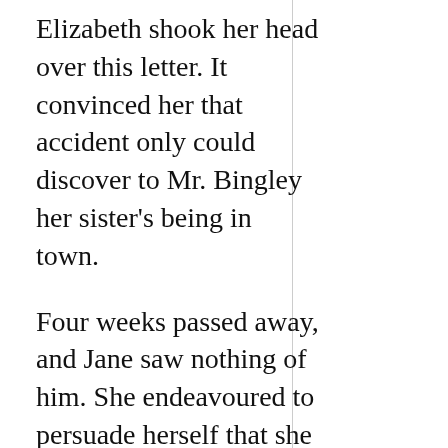Elizabeth shook her head over this letter. It convinced her that accident only could discover to Mr. Bingley her sister's being in town.
Four weeks passed away, and Jane saw nothing of him. She endeavoured to persuade herself that she did not regret it; but she could no longer be blind to Miss Bingley's inattention. After waiting at home every morning for a fortnight, and inventing every evening a fresh excuse for her, the visitor did at last appear; but the shortness of her stay, and yet more, the alteration of